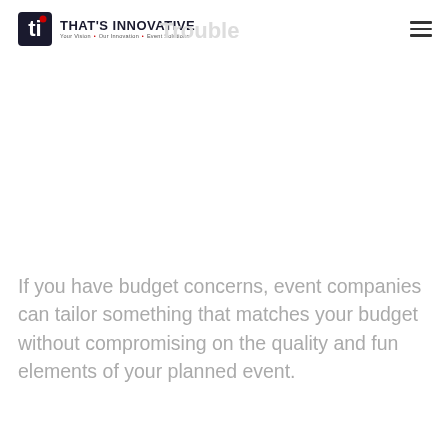That's Innovative — Your Vision • Our Innovation • Event Solutions
Trouble
If you have budget concerns, event companies can tailor something that matches your budget without compromising on the quality and fun elements of your planned event.